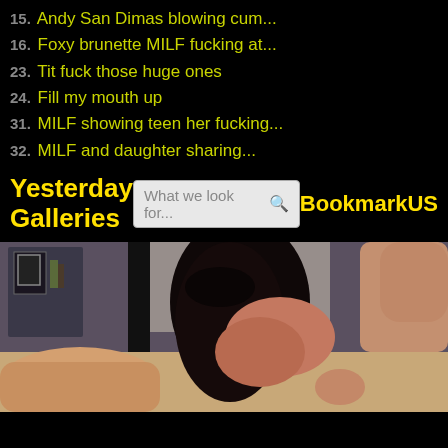15. Andy San Dimas blowing cum...
16. Foxy brunette MILF fucking at...
23. Tit fuck those huge ones
24. Fill my mouth up
31. MILF showing teen her fucking...
32. MILF and daughter sharing...
Yesterday Galleries
What we look for...
BookmarkUS
[Figure (photo): Adult content photo showing two people in an intimate scene, dark indoor setting with a room/shelf visible in background]